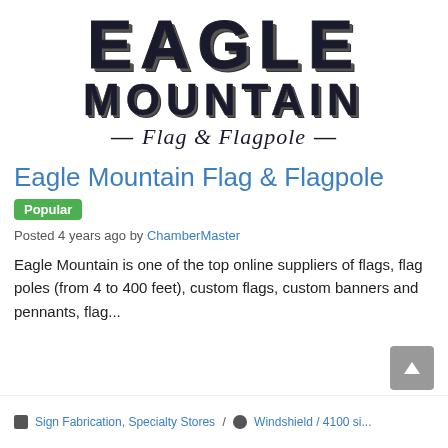[Figure (logo): Eagle Mountain Flag & Flagpole company logo with distressed bold text 'EAGLE' on top line, 'MOUNTAIN' on second line, and italic script '— Flag & Flagpole —' below]
Eagle Mountain Flag & Flagpole
Popular
Posted 4 years ago by ChamberMaster
Eagle Mountain is one of the top online suppliers of flags, flag poles (from 4 to 400 feet), custom flags, custom banners and pennants, flag...
Sign Fabrication, Specialty Stores / Windshield / 4100 si...